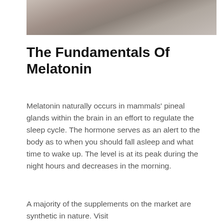[Figure (photo): Partial photo of bedding/pillows in muted grey-beige tones, cropped at top of page]
The Fundamentals Of Melatonin
Melatonin naturally occurs in mammals' pineal glands within the brain in an effort to regulate the sleep cycle. The hormone serves as an alert to the body as to when you should fall asleep and what time to wake up. The level is at its peak during the night hours and decreases in the morning.
A majority of the supplements on the market are synthetic in nature. Visit